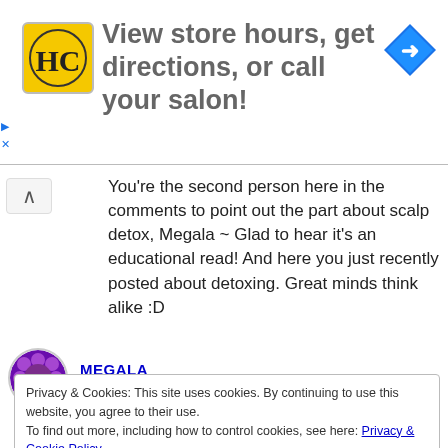[Figure (other): Ad banner with HC salon logo and navigation arrow icon. Text: View store hours, get directions, or call your salon!]
You're the second person here in the comments to point out the part about scalp detox, Megala ~ Glad to hear it's an educational read! And here you just recently posted about detoxing. Great minds think alike :D
MEGALA
JANUARY 24, 2019 AT 10:14 PM
Privacy & Cookies: This site uses cookies. By continuing to use this website, you agree to their use.
To find out more, including how to control cookies, see here: Privacy & Cookie Policy